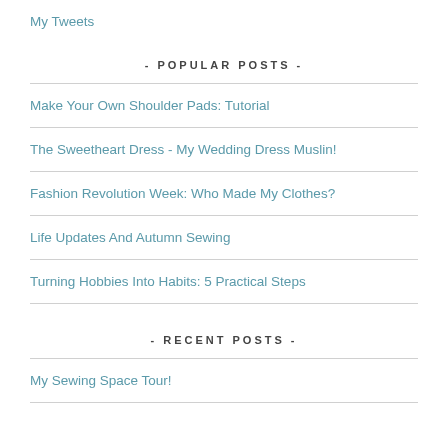My Tweets
- POPULAR POSTS -
Make Your Own Shoulder Pads: Tutorial
The Sweetheart Dress - My Wedding Dress Muslin!
Fashion Revolution Week: Who Made My Clothes?
Life Updates And Autumn Sewing
Turning Hobbies Into Habits: 5 Practical Steps
- RECENT POSTS -
My Sewing Space Tour!